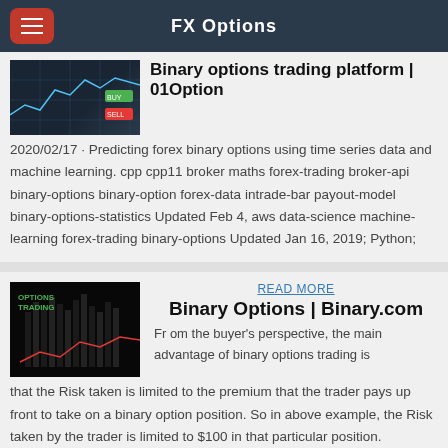FX Options
Binary options trading platform | 01Option
2020/02/17 · Predicting forex binary options using time series data and machine learning. cpp cpp11 broker maths forex-trading broker-api binary-options binary-option forex-data intrade-bar payout-model binary-options-statistics Updated Feb 4, aws data-science machine-learning forex-trading binary-options Updated Jan 16, 2019; Python;
READ MORE
Binary Options | Binary.com
Fr om the buyer's perspective, the main advantage of binary options trading is that the Risk taken is limited to the premium that the trader pays up front to take on a binary option position. So in above example, the Risk taken by the trader is limited to $100 in that particular position.